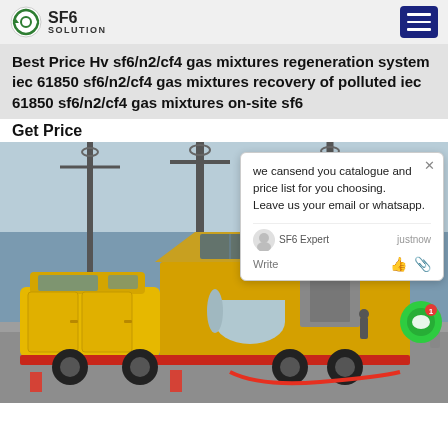SF6 SOLUTION
Best Price Hv sf6/n2/cf4 gas mixtures regeneration system iec 61850 sf6/n2/cf4 gas mixtures recovery of polluted iec 61850 sf6/n2/cf4 gas mixtures on-site sf6
Get Price
[Figure (photo): A yellow mobile SF6 gas recovery and regeneration truck with open side panel revealing equipment, parked at a high-voltage substation with tall pylons and electrical infrastructure in the background.]
we cansend you catalogue and price list for you choosing.
Leave us your email or whatsapp.

SF6 Expert   justnow
Write